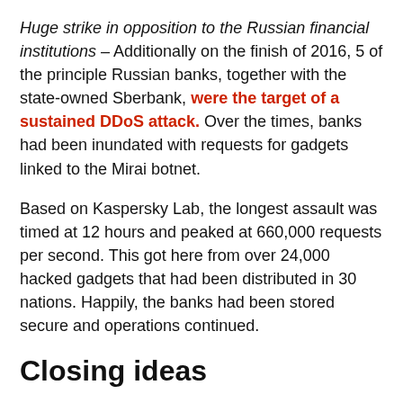Huge strike in opposition to the Russian financial institutions – Additionally on the finish of 2016, 5 of the principle Russian banks, together with the state-owned Sberbank, were the target of a sustained DDoS attack. Over the times, banks had been inundated with requests for gadgets linked to the Mirai botnet.
Based on Kaspersky Lab, the longest assault was timed at 12 hours and peaked at 660,000 requests per second. This got here from over 24,000 hacked gadgets that had been distributed in 30 nations. Happily, the banks had been stored secure and operations continued.
Closing ideas
As with all elements of expertise, new cyberattack strategies are being invented on a regular basis and even older strategies are continuously being up to date and up to date. The truth is, based on an Akamai report, DDoS assaults have dramatically elevated in energy, doubling the scale of the assault